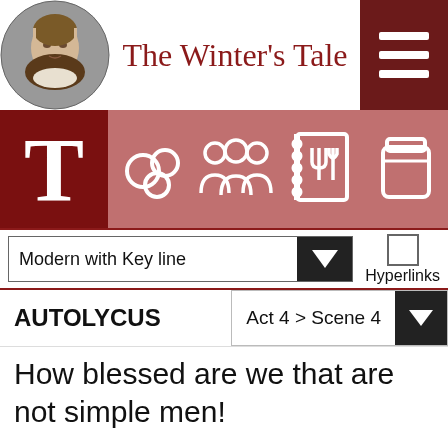The Winter's Tale
[Figure (screenshot): Navigation icon bar with text icon (T), bubble/chain icon, group of people icon, recipe book icon, and jar/container icon on a rose-brown background with dark red T cell]
Modern with Key line
Hyperlinks
AUTOLYCUS   Act 4 > Scene 4
How blessed are we that are not simple men!
Yet Nature might have made me as these are:
Therefore I'll not disdain